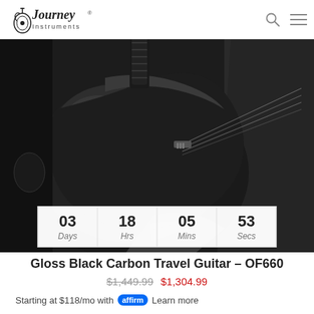[Figure (logo): Journey Instruments logo with guitar silhouette and script text]
[Figure (photo): Close-up of a glossy black carbon travel guitar body with strings and case]
03 Days  18 Hrs  05 Mins  53 Secs
Gloss Black Carbon Travel Guitar – OF660
$1,449.99  $1,304.99
Starting at $118/mo with Affirm  Learn more